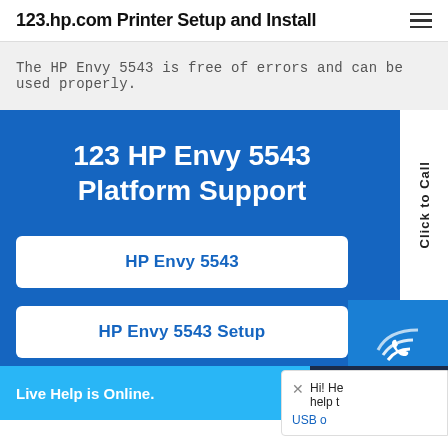123.hp.com Printer Setup and Install
The HP Envy 5543 is free of errors and can be used properly.
123 HP Envy 5543 Platform Support
HP Envy 5543
HP Envy 5543 Setup
Click to Call
Hi! He help t USB o
(800) 87
Live Help is Online.